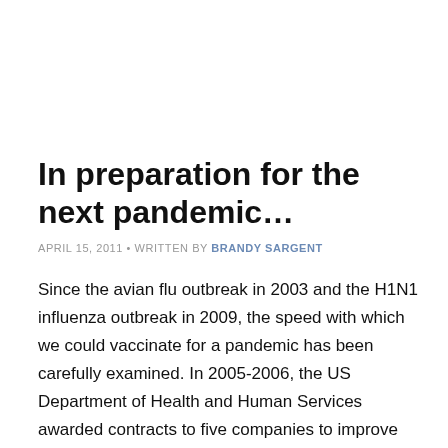In preparation for the next pandemic…
APRIL 15, 2011 • WRITTEN BY BRANDY SARGENT
Since the avian flu outbreak in 2003 and the H1N1 influenza outbreak in 2009, the speed with which we could vaccinate for a pandemic has been carefully examined. In 2005-2006, the US Department of Health and Human Services awarded contracts to five companies to improve current vaccine technology and build cell culture based vaccine facilities to make the United States better prepared. Of the five…